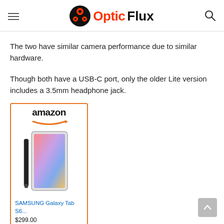Optic Flux
The two have similar camera performance due to similar hardware.
Though both have a USB-C port, only the older Lite version includes a 3.5mm headphone jack.
[Figure (other): Amazon product listing card for SAMSUNG Galaxy Tab S6... priced at $299.00, showing Amazon logo with orange arrow and tablet product image]